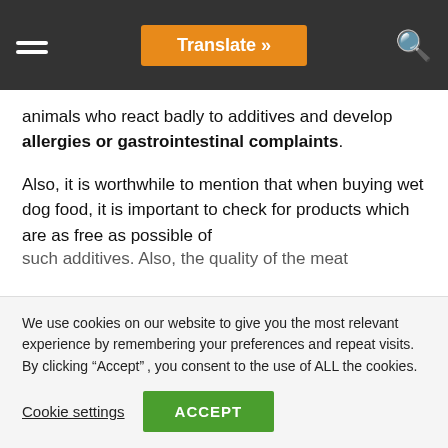Translate »
animals who react badly to additives and develop allergies or gastrointestinal complaints.
Also, it is worthwhile to mention that when buying wet dog food, it is important to check for products which are as free as possible of
We use cookies on our website to give you the most relevant experience by remembering your preferences and repeat visits. By clicking “Accept”, you consent to the use of ALL the cookies.
Cookie settings
ACCEPT